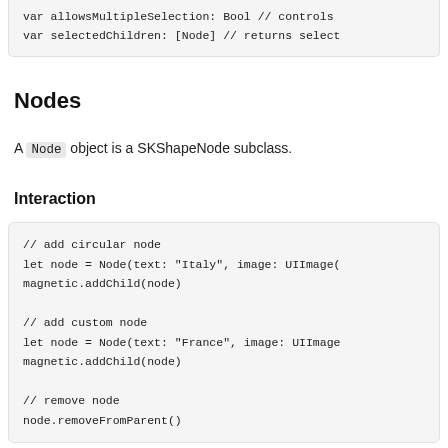var allowsMultipleSelection: Bool // controls
var selectedChildren: [Node] // returns select
Nodes
A Node object is a SKShapeNode subclass.
Interaction
// add circular node
let node = Node(text: "Italy", image: UIImage(
magnetic.addChild(node)

// add custom node
let node = Node(text: "France", image: UIImage
magnetic.addChild(node)

// remove node
node.removeFromParent()